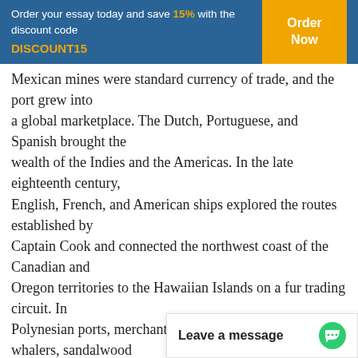Order your essay today and save 15% with the discount code DISCOUNT15
Mexican mines were standard currency of trade, and the port grew into a global marketplace. The Dutch, Portuguese, and Spanish brought the wealth of the Indies and the Americas. In the late eighteenth century, English, French, and American ships explored the routes established by Captain Cook and connected the northwest coast of the Canadian and Oregon territories to the Hawaiian Islands on a fur trading circuit. In Polynesian ports, merchant ships anchored beside whalers, sandalwood boats, trepang sellers, and tea-traders that had looped through Papeete or the Bay of Islands, New Zealand, Queensland Australia with cargoes for China.